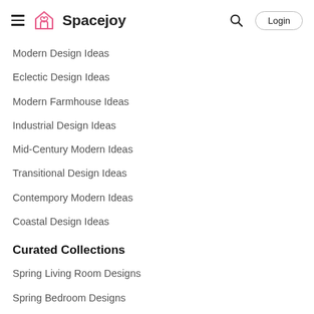Spacejoy
Modern Design Ideas
Eclectic Design Ideas
Modern Farmhouse Ideas
Industrial Design Ideas
Mid-Century Modern Ideas
Transitional Design Ideas
Contempory Modern Ideas
Coastal Design Ideas
Curated Collections
Spring Living Room Designs
Spring Bedroom Designs
Spring Entryway Designs